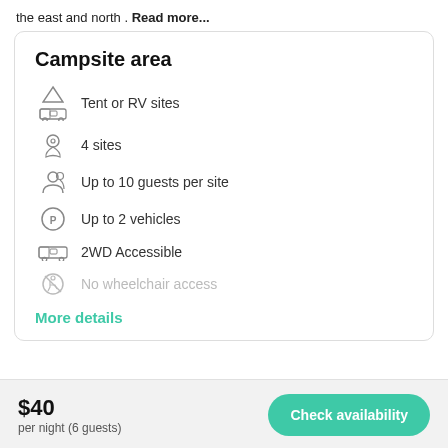the east and north . Read more...
Campsite area
Tent or RV sites
4 sites
Up to 10 guests per site
Up to 2 vehicles
2WD Accessible
No wheelchair access
More details
$40
per night (6 guests)
Check availability